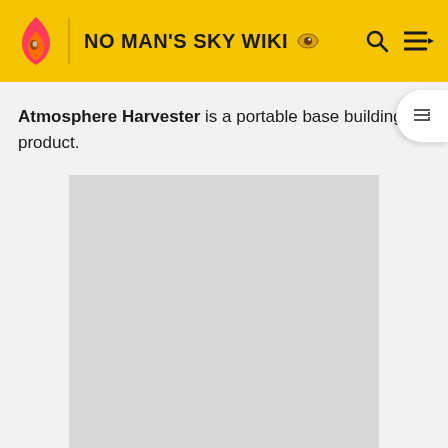NO MAN'S SKY WIKI
Atmosphere Harvester is a portable base building product.
[Figure (other): Advertisement placeholder - grey rectangle]
ADVERTISEMENT